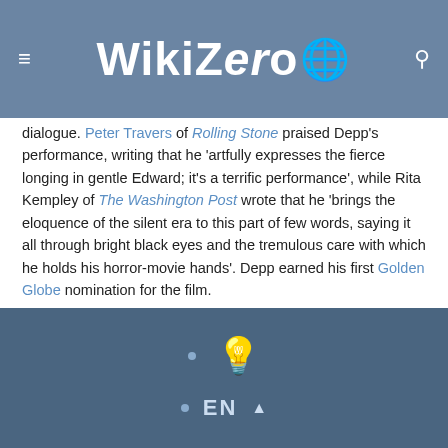WikiZero
dialogue. Peter Travers of Rolling Stone praised Depp's performance, writing that he 'artfully expresses the fierce longing in gentle Edward; it's a terrific performance', while Rita Kempley of The Washington Post wrote that he 'brings the eloquence of the silent era to this part of few words, saying it all through bright black eyes and the tremulous care with which he holds his horror-movie hands'. Depp earned his first Golden Globe nomination for the film.
[Figure (photo): Blurred photograph, appears to show people at some kind of event]
EN